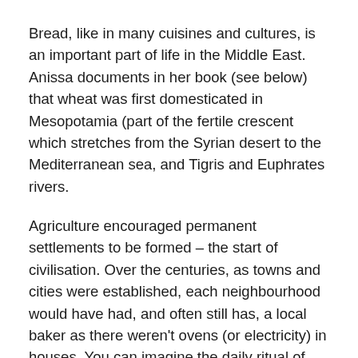Bread, like in many cuisines and cultures, is an important part of life in the Middle East. Anissa documents in her book (see below) that wheat was first domesticated in Mesopotamia (part of the fertile crescent which stretches from the Syrian desert to the Mediterranean sea, and Tigris and Euphrates rivers.
Agriculture encouraged permanent settlements to be formed – the start of civilisation. Over the centuries, as towns and cities were established, each neighbourhood would have had, and often still has, a local baker as there weren't ovens (or electricity) in houses. You can imagine the daily ritual of collecting it warm from the oven, not once every couple of weeks like KP and I. It was a place to swap news, a place of affordable nourishment, a daily simple, sustaining pleasure.